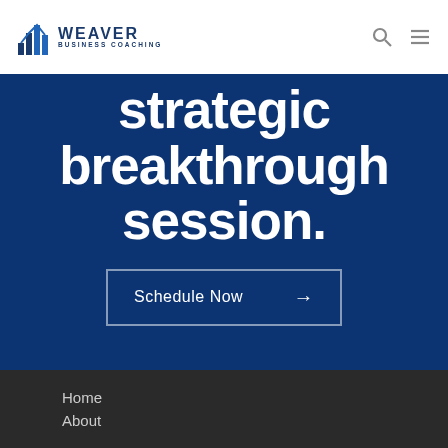[Figure (logo): Weaver Business Coaching logo with bar chart icon and text]
strategic breakthrough session.
Schedule Now →
Home
About